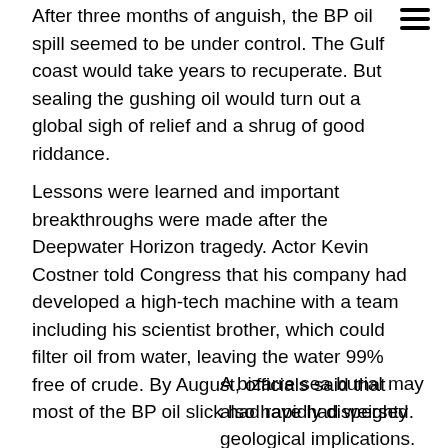After three months of anguish, the BP oil spill seemed to be under control. The Gulf coast would take years to recuperate. But sealing the gushing oil would turn out a global sigh of relief and a shrug of good riddance.
Lessons were learned and important breakthroughs were made after the Deepwater Horizon tragedy. Actor Kevin Costner told Congress that his company had developed a high-tech machine with a team including his scientist brother, which could filter oil from water, leaving the water 99% free of crude. By August, officials said that most of the BP oil slick had rapidly dispersed.
A bizarre sea burial may also have had weighty geological implications. Technological